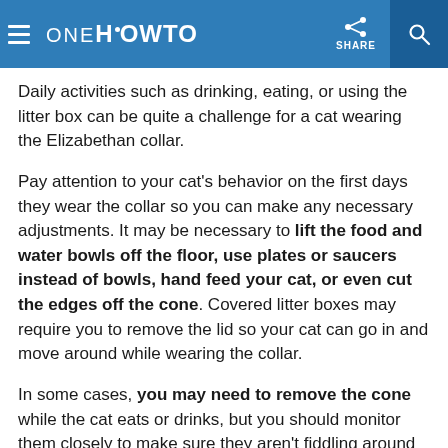oneHOWTO SHARE
Daily activities such as drinking, eating, or using the litter box can be quite a challenge for a cat wearing the Elizabethan collar.
Pay attention to your cat's behavior on the first days they wear the collar so you can make any necessary adjustments. It may be necessary to lift the food and water bowls off the floor, use plates or saucers instead of bowls, hand feed your cat, or even cut the edges off the cone. Covered litter boxes may require you to remove the lid so your cat can go in and move around while wearing the collar.
In some cases, you may need to remove the cone while the cat eats or drinks, but you should monitor them closely to make sure they aren’t fiddling around with their stitches while the cone is off.